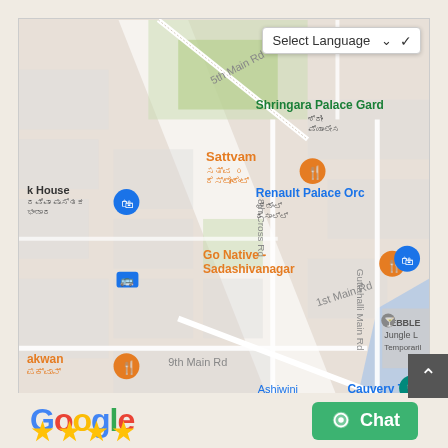[Figure (map): Google Maps screenshot showing Sadashivanagar area in Bangalore, India. Shows streets including 5th Main Rd, 8th Cross Rd, 1st Main Rd, 9th Main Rd, Guttahalli Main Rd. Landmarks include Sattvam restaurant, Go Native - Sadashivanagar restaurant, Cauvery Theatre, National Tuberculosis Institute, Renault Palace, Shringara Palace Garden, PEBBLE Jungle, k House book shop, e Station. Text labels in both English and Kannada script.]
Select Language
[Figure (logo): Google logo in multicolor letters]
[Figure (other): Green Chat button with chat icon]
[Figure (other): 4 gold star ratings below Google logo]